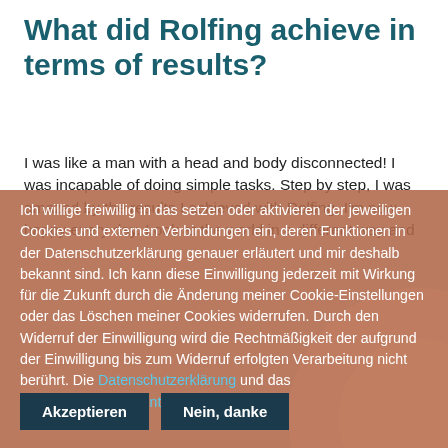What did Rolfing achieve in terms of results?
I was like a man with a head and body disconnected! I was incapable of doing simple tasks. Step by step, I was amazed by the results I achieved with Rolfing. I'm now happy every day. Look at the world in a different way and
Ich willige freiwillig in das setzen oder aktivieren der jeweiligen Cookies und externen Verbindungen ein, deren Funktionen in der Datenschutzerklärung genauer erläutert und mir deshalb bekannt sind. Ich kann diese Einwilligung jederzeit mit Wirkung für die Zukunft durch die Änderung meiner Cookie-Einstellungen oder das Löschen meiner Cookies widerrufen. Durch den Widerruf der Einwilligung wird die Rechtmäßigkeit der aufgrund der Einwilligung bis zum Widerruf erfolgten Verarbeitung nicht berührt. Die Datenschutzerklärung und das Transparenzdokument habe ich gelesen.